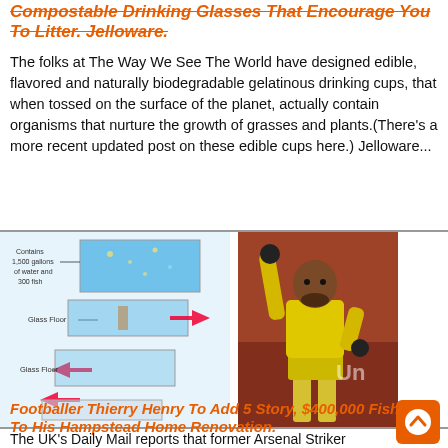Compostable Drinking Glasses That Encourage You To Litter. Jelloware.
The folks at The Way We See The World have designed edible, flavored and naturally biodegradable gelatinous drinking cups, that when tossed on the surface of the planet, actually contain organisms that nurture the growth of grasses and plants.(There's a more recent updated post on these edible cups here.) Jelloware...
[Figure (infographic): Isometric diagram of a multi-story glass floor aquarium containing 1,500 gallons of water and 300 fish, with arrows showing water flow and glass floor labels]
[Figure (photo): Footballer Thierry Henry in yellow kit raising one arm in the air on a football pitch]
Footballer Thierry Henry To Add 5 Story, $400,000 Fish Tank To His Hampstead Home Renovation.
The UK's Daily Mail reports that former Arsenal Striker